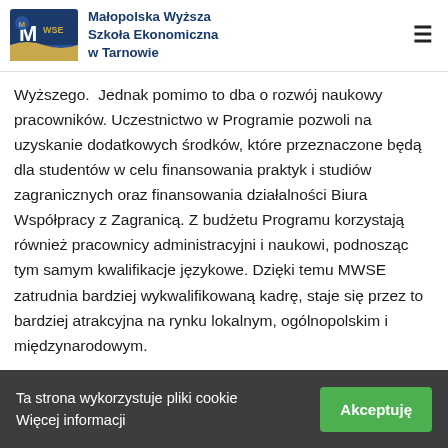Małopolska Wyższa Szkoła Ekonomiczna w Tarnowie
Wyższego.  Jednak pomimo to dba o rozwój naukowy pracowników. Uczestnictwo w Programie pozwoli na uzyskanie dodatkowych środków, które przeznaczone będą dla studentów w celu finansowania praktyk i studiów zagranicznych oraz finansowania działalności Biura Współpracy z Zagranicą. Z budżetu Programu korzystają również pracownicy administracyjni i naukowi, podnosząc tym samym kwalifikacje językowe. Dzięki temu MWSE zatrudnia bardziej wykwalifikowaną kadrę, staje się przez to bardziej atrakcyjna na rynku lokalnym, ogólnopolskim i międzynarodowym.
Ta strona wykorzystuje pliki cookie Więcej informacji
Akceptuję